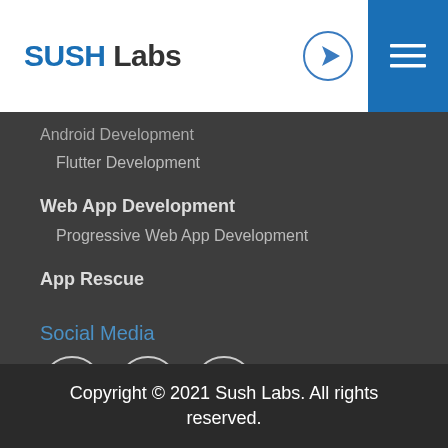SUSH Labs
Android Development
Flutter Development
Web App Development
Progressive Web App Development
App Rescue
Social Media
[Figure (other): Social media icons: Facebook, LinkedIn, Instagram]
Privacy Policy
Copyright © 2021 Sush Labs. All rights reserved.